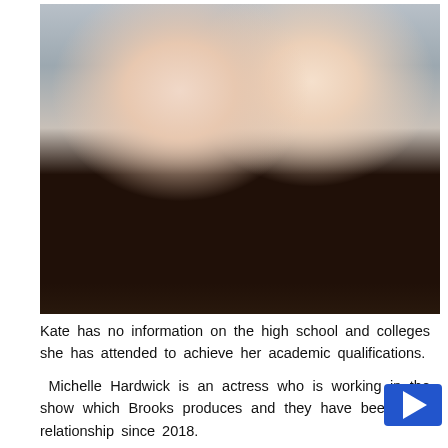[Figure (photo): Two women smiling together in what appears to be an indoor venue. The woman on the left has dark hair and wears a black floral dress. The woman on the right has long blonde hair and wears a dark top.]
Kate has no information on the high school and colleges she has attended to achieve her academic qualifications.
Michelle Hardwick is an actress who is working in the show which Brooks produces and they have been in a relationship since 2018.
After being in the relationship for nearly a year, Mich